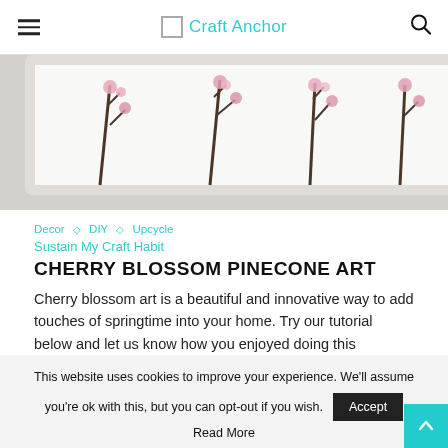Craft Anchor
[Figure (photo): Cherry blossom pinecone art displayed in a white frame, with decorative bottles on a shelf]
Decor ◇ DIY ◇ Upcycle
Sustain My Craft Habit
CHERRY BLOSSOM PINECONE ART
Cherry blossom art is a beautiful and innovative way to add touches of springtime into your home. Try our tutorial below and let us know how you enjoyed doing this
This website uses cookies to improve your experience. We'll assume you're ok with this, but you can opt-out if you wish.
Accept
Read More